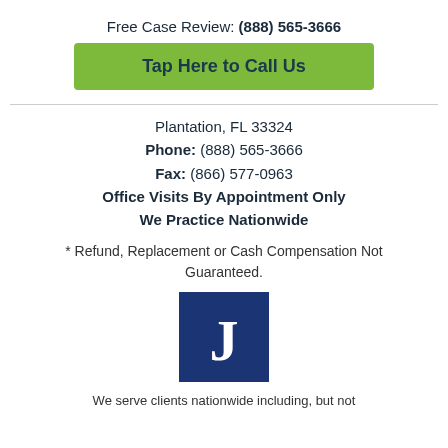Free Case Review: (888) 565-3666
Tap Here to Call Us
Plantation, FL 33324
Phone: (888) 565-3666
Fax: (866) 577-0963
Office Visits By Appointment Only
We Practice Nationwide
* Refund, Replacement or Cash Compensation Not Guaranteed.
[Figure (logo): Blue square logo with white letter J]
We serve clients nationwide including, but not